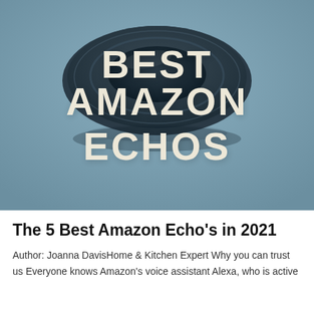[Figure (photo): Amazon Echo device (dark circular smart speaker) viewed from above on a steel-blue/grey-blue background. Large bold cream/off-white text overlaid reads 'BEST AMAZON ECHOS' in three lines.]
The 5 Best Amazon Echo's in 2021
Author: Joanna DavisHome & Kitchen Expert Why you can trust us Everyone knows Amazon's voice assistant Alexa, who is active